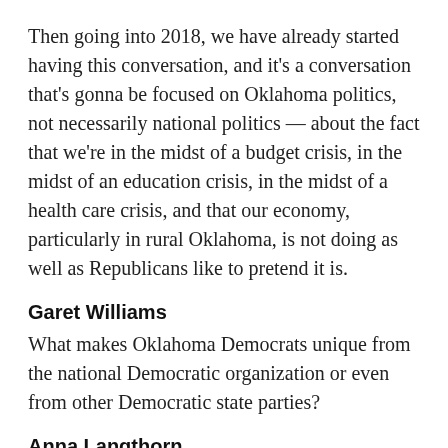Then going into 2018, we have already started having this conversation, and it's a conversation that's gonna be focused on Oklahoma politics, not necessarily national politics — about the fact that we're in the midst of a budget crisis, in the midst of an education crisis, in the midst of a health care crisis, and that our economy, particularly in rural Oklahoma, is not doing as well as Republicans like to pretend it is.
Garet Williams
What makes Oklahoma Democrats unique from the national Democratic organization or even from other Democratic state parties?
Anna Langthorn
In terms of what makes us unique, we've got more